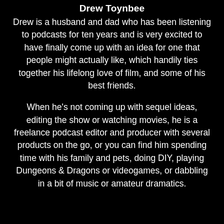Drew Toynbee
Drew is a husband and dad who has been listening to podcasts for ten years and is very excited to have finally come up with an idea for one that people might actually like, which handily ties together his lifelong love of film, and some of his best friends.
When he's not coming up with sequel ideas, editing the show or watching movies, he is a freelance podcast editor and producer with several products on the go, or you can find him spending time with his family and pets, doing DIY, playing Dungeons & Dragons or videogames, or dabbling in a bit of music or amateur dramatics.